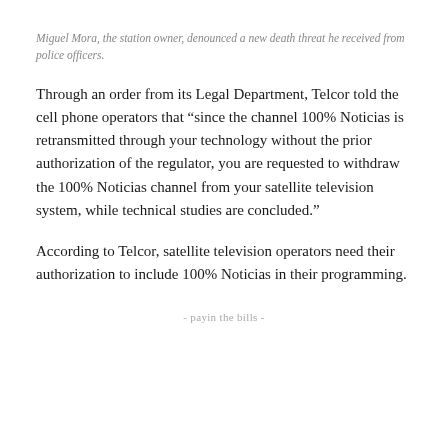Miguel Mora, the station owner, denounced a new death threat he received from police officers.
Through an order from its Legal Department, Telcor told the cell phone operators that “since the channel 100% Noticias is retransmitted through your technology without the prior authorization of the regulator, you are requested to withdraw the 100% Noticias channel from your satellite television system, while technical studies are concluded.”
According to Telcor, satellite television operators need their authorization to include 100% Noticias in their programming.
- payin the bills -